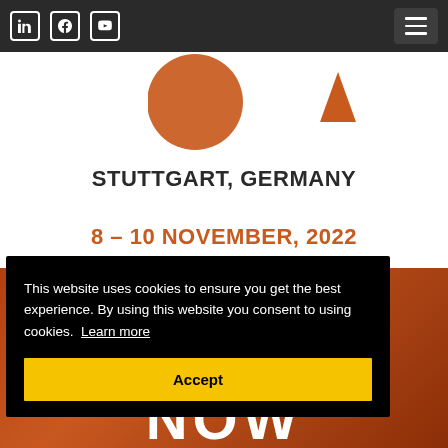LinkedIn Facebook YouTube [hamburger menu]
[Figure (logo): Partial orange geometric logo shape on white background]
STUTTGART, GERMANY
8 – 10 NOVEMBER, 2022
[Figure (photo): Orange/brown textured background]
This website uses cookies to ensure you get the best experience. By using this website you consent to using cookies. Learn more
Accept
NOW